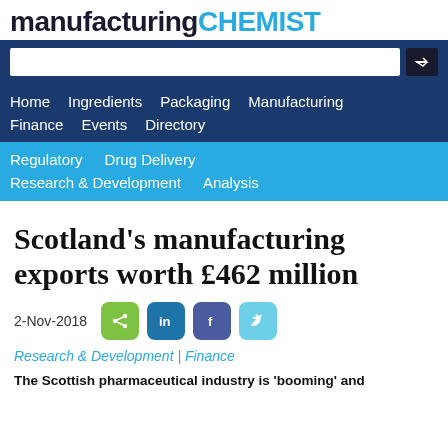manufacturing CHEMIST
[Figure (screenshot): Search bar with dark navy background and arrow button]
Home  Ingredients  Packaging  Manufacturing  Finance  Events  Directory
Regulatory  Drug Delivery  Research & Development  Analysis
Scotland's manufacturing exports worth £462 million
2-Nov-2018
Research & Development | Finance
The Scottish pharmaceutical industry is 'booming' and